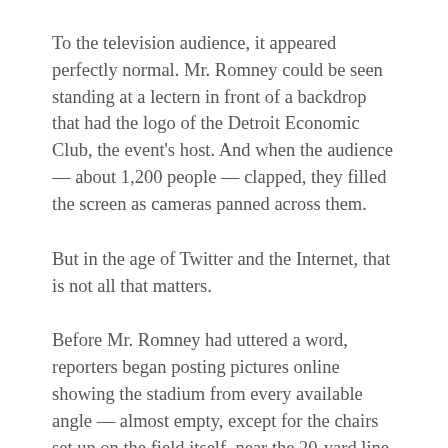To the television audience, it appeared perfectly normal. Mr. Romney could be seen standing at a lectern in front of a backdrop that had the logo of the Detroit Economic Club, the event's host. And when the audience — about 1,200 people — clapped, they filled the screen as cameras panned across them.
But in the age of Twitter and the Internet, that is not all that matters.
Before Mr. Romney had uttered a word, reporters began posting pictures online showing the stadium from every available angle — almost empty, except for the chairs set up on the field itself, near the 20-yard line.
Row after row of barren blue seats across the giant stadium made the crowd seem minuscule. Across the Web, a storyline for the day began to take hold that undercut and detracted from Mr.